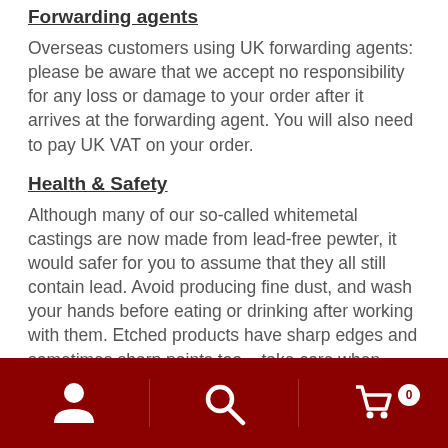Forwarding agents
Overseas customers using UK forwarding agents: please be aware that we accept no responsibility for any loss or damage to your order after it arrives at the forwarding agent. You will also need to pay UK VAT on your order.
Health & Safety
Although many of our so-called whitemetal castings are now made from lead-free pewter, it would safer for you to assume that they all still contain lead. Avoid producing fine dust, and wash your hands before eating or drinking after working with them. Etched products have sharp edges and sometimes sharp points too – take care when handling them.
Navigation bar with account, search, and cart icons